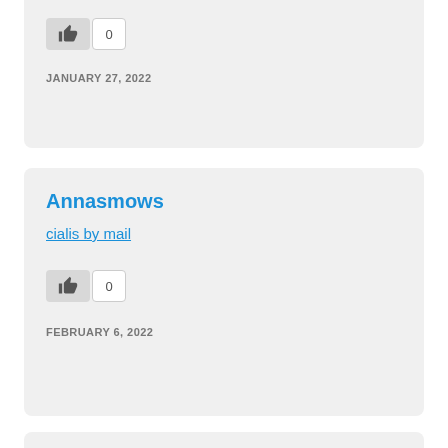[Figure (other): Like button with count 0]
JANUARY 27, 2022
Annasmows
cialis by mail
[Figure (other): Like button with count 0]
FEBRUARY 6, 2022